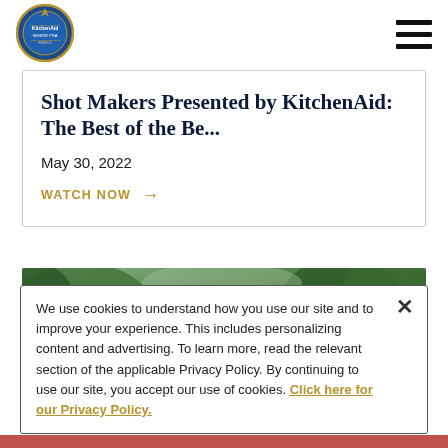KitchenAid Senior PGA logo and navigation menu
Shot Makers Presented by KitchenAid: The Best of the Be...
May 30, 2022
WATCH NOW →
[Figure (photo): A golfer wearing a white cap photographed from behind mid-swing, with green trees in the background]
We use cookies to understand how you use our site and to improve your experience. This includes personalizing content and advertising. To learn more, read the relevant section of the applicable Privacy Policy. By continuing to use our site, you accept our use of cookies. Click here for our Privacy Policy.